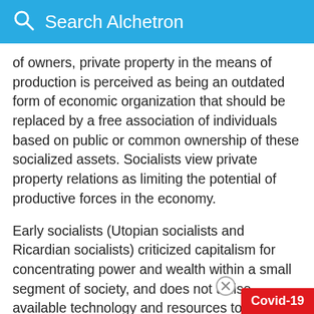Search Alchetron
of owners, private property in the means of production is perceived as being an outdated form of economic organization that should be replaced by a free association of individuals based on public or common ownership of these socialized assets. Socialists view private property relations as limiting the potential of productive forces in the economy.
Early socialists (Utopian socialists and Ricardian socialists) criticized capitalism for concentrating power and wealth within a small segment of society, and does not utilise available technology and resources to their maximum potential in the interests of the public.